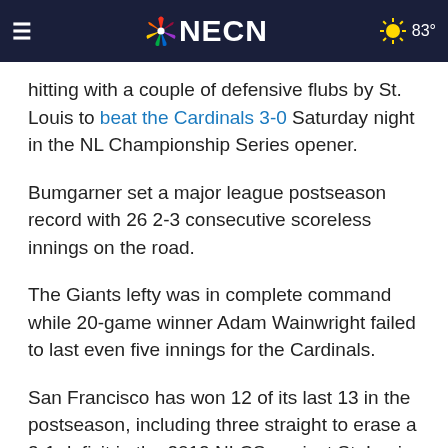≡  NECN  83°
ing and the Sea combined ju n hitting with a couple of defensive flubs by St. Louis to beat the Cardinals 3-0 Saturday night in the NL Championship Series opener.
Bumgarner set a major league postseason record with 26 2-3 consecutive scoreless innings on the road.
The Giants lefty was in complete command while 20-game winner Adam Wainwright failed to last even five innings for the Cardinals.
San Francisco has won 12 of its last 13 in the postseason, including three straight to erase a 3-1 deficit in the 2012 NLCS against St. Louis.
John Damon at the Giants Set at for the Giants on Sunday